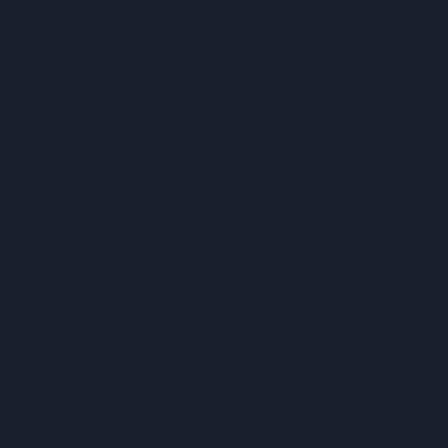import { theme } from '../../styles/theme';
TABLE OF CONTENTS
render() {
  return (
    <Html>
      <Head>


        <link rel="preconnect" href="ht
        <link
          rel="preconnect"
          href="https://fonts.gstatic.c
          crossOrigin="true"
        />

        <link
          href="https://fonts.googleapi
          rel="stylesheet"